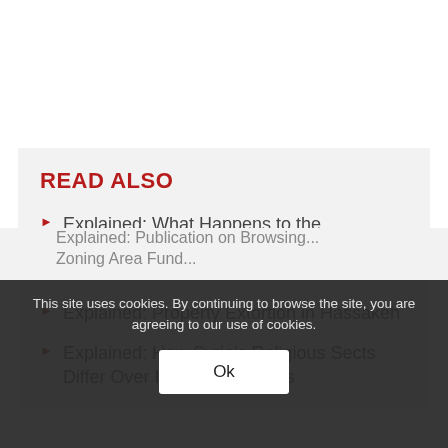READ ALSO
Explained: What Happens to the Properties of People Accused of Crimes in Absentia?
Explained: Property Extortion in Hassakeh
Explained: How Syria's Religious Sects Differ Over Inheritance Rules
This site uses cookies. By continuing to browse the site, you are agreeing to our use of cookies.